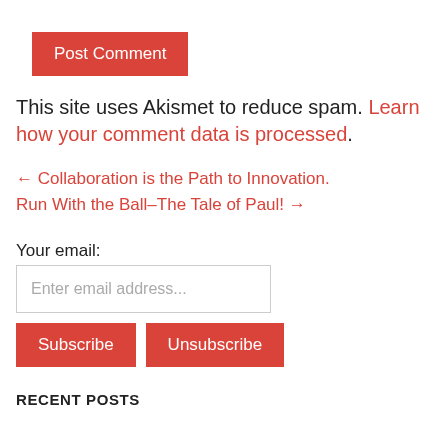Post Comment
This site uses Akismet to reduce spam. Learn how your comment data is processed.
← Collaboration is the Path to Innovation.
Run With the Ball–The Tale of Paul! →
Your email:
Enter email address...
Subscribe
Unsubscribe
RECENT POSTS